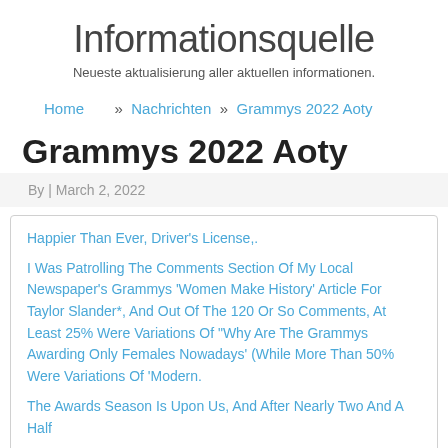Informationsquelle
Neueste aktualisierung aller aktuellen informationen.
Home » Nachrichten » Grammys 2022 Aoty
Grammys 2022 Aoty
By | March 2, 2022
Happier Than Ever, Driver's License,.
I Was Patrolling The Comments Section Of My Local Newspaper's Grammys 'Women Make History' Article For Taylor Slander*, And Out Of The 120 Or So Comments, At Least 25% Were Variations Of "Why Are The Grammys Awarding Only Females Nowadays' (While More Than 50% Were Variations Of 'Modern.
The Awards Season Is Upon Us, And After Nearly Two And A Half